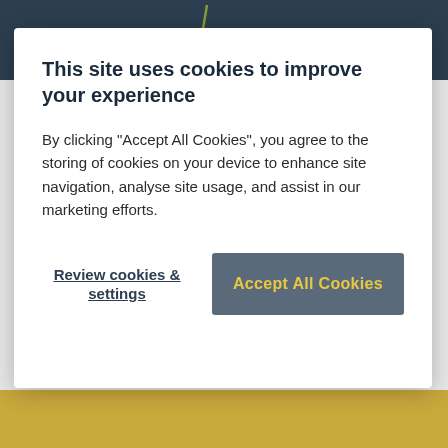[Figure (screenshot): Dark navy header background with a diagonal gold/olive accent slash line]
training
[Figure (logo): Gateley / LEGAL logo with a diagonal slash separator between 'Gateley' and 'LEGAL']
This site uses cookies to improve your experience
By clicking “Accept All Cookies”, you agree to the storing of cookies on your device to enhance site navigation, analyse site usage, and assist in our marketing efforts.
Review cookies & settings
Accept All Cookies